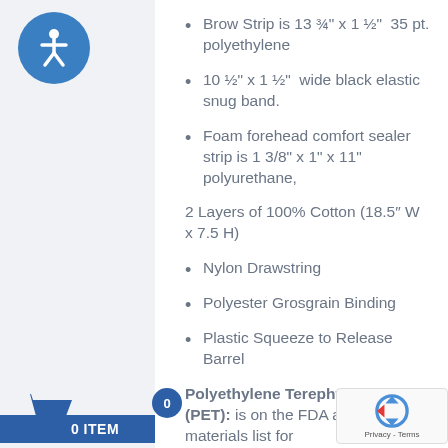[Figure (illustration): Blue circular accessibility icon with white person figure, top-left sidebar]
Brow Strip is 13 ¾" x 1 ½"  35 pt. polyethylene
10 ½" x 1 ½"  wide black elastic snug band.
Foam forehead comfort sealer strip is 1 3/8" x 1" x 11" polyurethane,
2 Layers of 100% Cotton (18.5″ W x 7.5 H)
Nylon Drawstring
Polyester Grosgrain Binding
Plastic Squeeze to Release Barrel
Polyethylene Terephthalate (PET): is on the FDA approved materials list for
[Figure (illustration): Shopping cart icon with badge showing 0 and label '0 ITEM' on blue bar, left sidebar]
[Figure (logo): reCAPTCHA widget bottom-right corner showing Privacy - Terms]